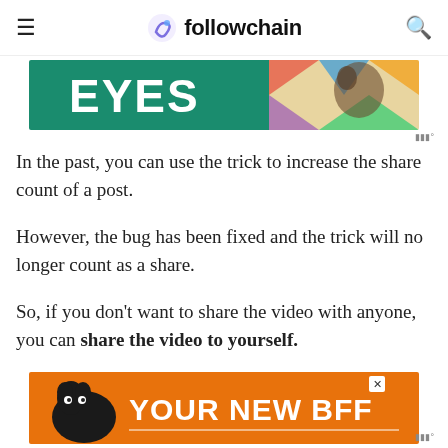followchain
[Figure (photo): Partial advertisement banner showing text 'EYES' on green background with a dog wearing a colorful bandana on the right side]
In the past, you can use the trick to increase the share count of a post.
However, the bug has been fixed and the trick will no longer count as a share.
So, if you don't want to share the video with anyone, you can share the video to yourself.
[Figure (photo): Advertisement banner with orange background showing a black and white dog and text 'YOUR NEW BFF']